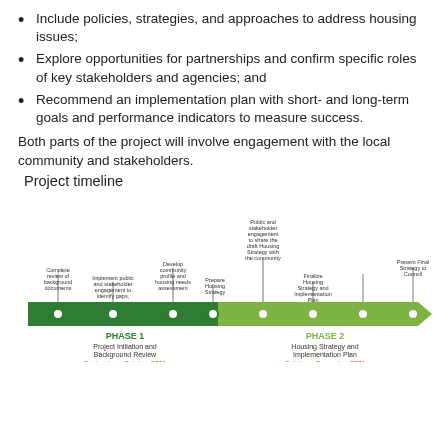Include policies, strategies, and approaches to address housing issues;
Explore opportunities for partnerships and confirm specific roles of key stakeholders and agencies; and
Recommend an implementation plan with short- and long-term goals and performance indicators to measure success.
Both parts of the project will involve engagement with the local community and stakeholders.
Project timeline
[Figure (infographic): Project timeline infographic showing two phases. Phase 1: Project Initiation and Background Review (September - October 2021) with milestones: Complete review of background documents; Implement public and stakeholder engagement to identify gaps, issues and ideas; Develop community profile and housing needs assessment; Prepare Housing Strategy. Phase 2: Housing Strategy and Implementation Plan (October - December 2021) with milestones: Public and stakeholder engagement to share the draft Housing Strategy with the community; Finalize Housing Strategy and Implementation Plan; Present Final Strategy to Council.]